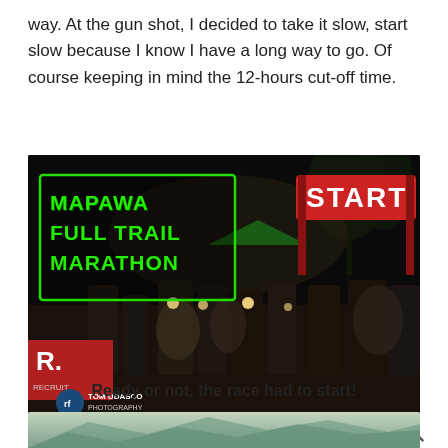way. At the gun shot, I decided to take it slow, start slow because I know I have a long way to go. Of course keeping in mind the 12-hours cut-off time.
[Figure (photo): Night-time photo of runners at the start of the Mapawa Full Trail Marathon. The green Mapawa Full Trail Marathon logo text is overlaid on the left, and a red START banner arch is visible on the right. Runners wearing headlamps are crowded at the start line. A red sponsor banner is visible on the left. Photo credit: Tom Udasco.]
Ready or not, the race had to start!
[Figure (photo): Partial view of a trail running photo at the bottom of the page, showing a mountainous or forested landscape.]